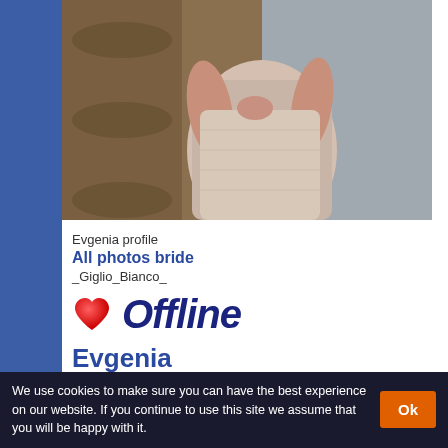[Figure (photo): Partial photo of a woman in a light dress, cropped torso view]
Evgenia profile
All photos bride
_Giglio_Bianco_
[Figure (illustration): Red heart icon next to large bold italic 'Offline' text in dark blue]
Evgenia
ID: 1001662095
Age 29 y/o female, Zodiac: Taurus
City: from Kyiv, Ukraine
We use cookies to make sure you can have the best experience on our website. If you continue to use this site we assume that you will be happy with it.